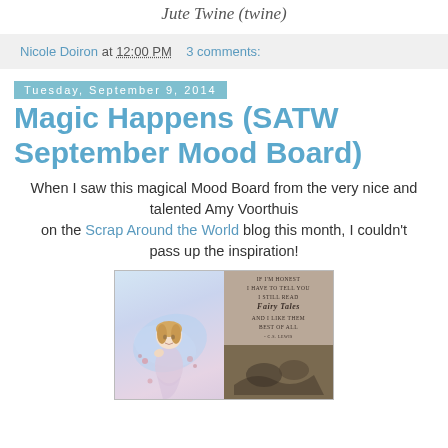Jute Twine (twine)
Nicole Doiron at 12:00 PM  3 comments:
Tuesday, September 9, 2014
Magic Happens (SATW September Mood Board)
When I saw this magical Mood Board from the very nice and talented Amy Voorthuis on the Scrap Around the World blog this month, I couldn't pass up the inspiration!
[Figure (photo): A mood board collage showing a fairy illustration on the left and a quote about fairy tales on the upper right, with a third image partially visible on the lower right.]